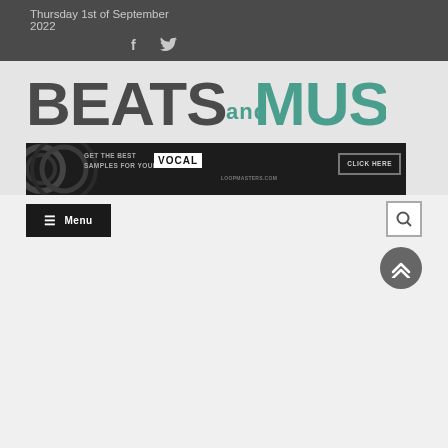Thursday 1st of September
2022
[Figure (logo): Beats and Music website logo with teal/green lettering on light grey background]
[Figure (infographic): Advertisement banner: GET THE BEST VOCAL SAMPLES FOR YOUR MUSIC LOOPMASTERS.COM CLICK HERE]
☰ Menu
[Figure (infographic): Search icon button (magnifying glass) in square border]
[Figure (infographic): Scroll to top button - circular grey button with double chevron up arrows]